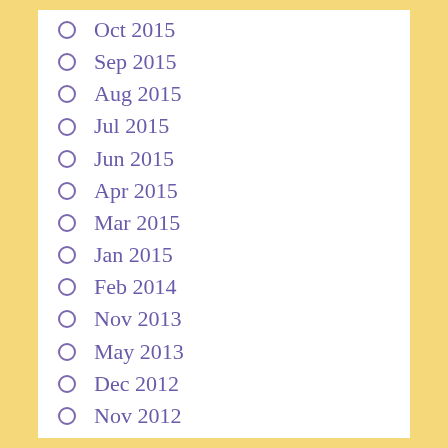Oct 2015
Sep 2015
Aug 2015
Jul 2015
Jun 2015
Apr 2015
Mar 2015
Jan 2015
Feb 2014
Nov 2013
May 2013
Dec 2012
Nov 2012
Sep 2012
Aug 2012
Jul 2012